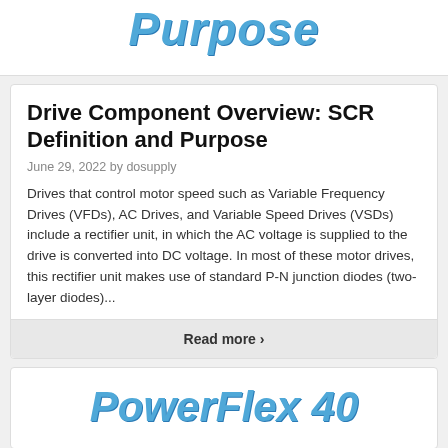Purpose
Drive Component Overview: SCR Definition and Purpose
June 29, 2022 by dosupply
Drives that control motor speed such as Variable Frequency Drives (VFDs), AC Drives, and Variable Speed Drives (VSDs) include a rectifier unit, in which the AC voltage is supplied to the drive is converted into DC voltage. In most of these motor drives, this rectifier unit makes use of standard P-N junction diodes (two-layer diodes)...
Read more >
PowerFlex 40